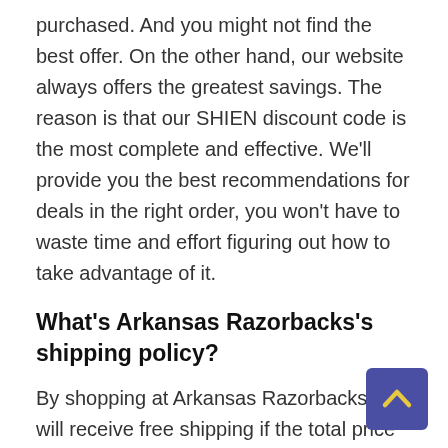purchased. And you might not find the best offer. On the other hand, our website always offers the greatest savings. The reason is that our SHIEN discount code is the most complete and effective. We'll provide you the best recommendations for deals in the right order, you won't have to waste time and effort figuring out how to take advantage of it.
What's Arkansas Razorbacks's shipping policy?
By shopping at Arkansas Razorbacks, you will receive free shipping if the total price of your order exceeds a specific amount. By doing this, you can put the things you need in your cart and order them all at once when you make a transaction. However, there are times when the order amount does not satisfy the rules. Do not be concerned about this circumstance. All you need to do is to use the coupon codes and you'll get free shipping. We all hope